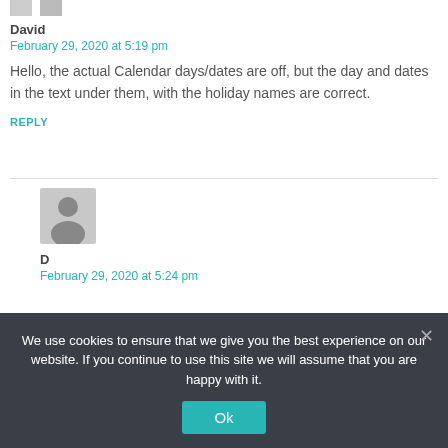David
February 29, 2020 at 5:19 pm
Hello, the actual Calendar days/dates are off, but the day and dates in the text under them, with the holiday names are correct.
REPLY
[Figure (illustration): Default user avatar placeholder - grey silhouette of a person]
D
February 29, 2020 at 5:24 pm
We use cookies to ensure that we give you the best experience on our website. If you continue to use this site we will assume that you are happy with it.